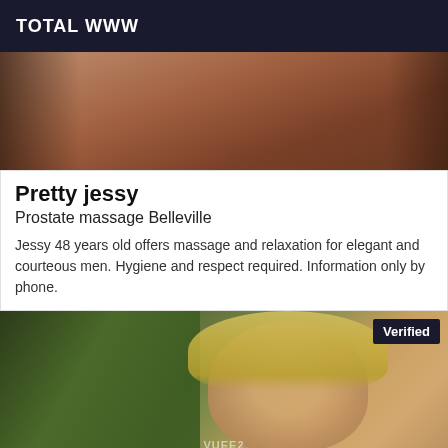TOTAL WWW
[Figure (photo): Partial body photo with warm brown tones, appears to be a massage-related image]
Pretty jessy
Prostate massage Belleville
Jessy 48 years old offers massage and relaxation for elegant and courteous men. Hygiene and respect required. Information only by phone.
[Figure (photo): Photo of a blonde woman outdoors with green foliage background, with a Verified badge overlay]